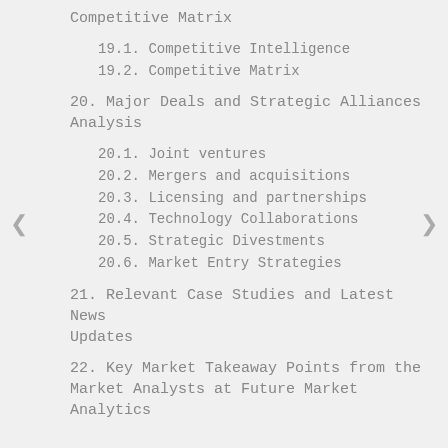Competitive Matrix
19.1. Competitive Intelligence
19.2. Competitive Matrix
20. Major Deals and Strategic Alliances Analysis
20.1. Joint ventures
20.2. Mergers and acquisitions
20.3. Licensing and partnerships
20.4. Technology Collaborations
20.5. Strategic Divestments
20.6. Market Entry Strategies
21. Relevant Case Studies and Latest News Updates
22. Key Market Takeaway Points from the Market Analysts at Future Market Analytics